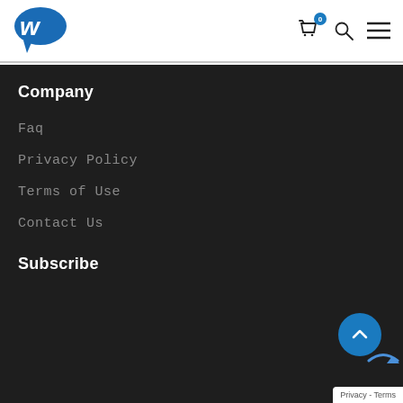Logo header with cart, search, and menu icons
Company
Faq
Privacy Policy
Terms of Use
Contact Us
Subscribe
Privacy - Terms